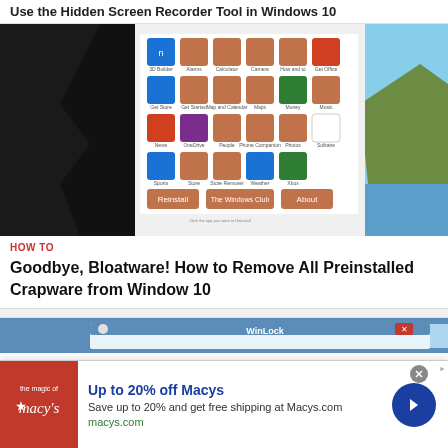Use the Hidden Screen Recorder Tool in Windows 10
[Figure (screenshot): Screenshot of a Windows 10 app grid showing icons for 3D Builder, Alarms, Calculator, Camera, Get Office, Get Store, Get Started, Map and Calendar, Maps, Money, Music, News, OneDrive, People, Phone Companion, Photos, Solitaire, Sports, Store, Skype Recorder, Weather, Xbox, with buttons: Reinstall, The Windows Club, About]
HOW TO
Goodbye, Bloatware! How to Remove All Preinstalled Crapware from Window 10
[Figure (screenshot): Partial screenshot showing a blue background with WinLock application window with red close button]
Up to 20% off Macys
Save up to 20% and get free shipping at Macys.com
macys.com